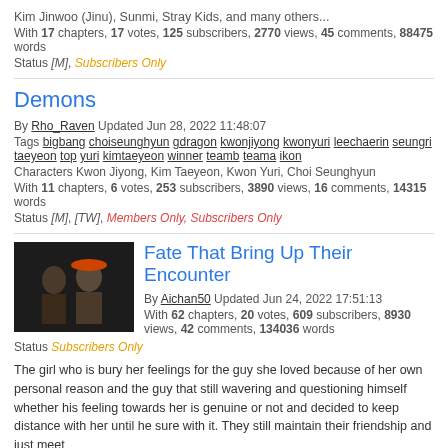Kim Jinwoo (Jinu), Sunmi, Stray Kids, and many others...
With 17 chapters, 17 votes, 125 subscribers, 2770 views, 45 comments, 88475 words
Status [M], Subscribers Only
Demons
By Rho_Raven Updated Jun 28, 2022 11:48:07
Tags bigbang choiseunghyun gdragon kwonjiyong kwonyuri leechaerin seungri taeyeon top yuri kimtaeyeon winner teamb teama ikon
Characters Kwon Jiyong, Kim Taeyeon, Kwon Yuri, Choi Seunghyun
With 11 chapters, 6 votes, 253 subscribers, 3890 views, 16 comments, 14315 words
Status [M], [TW], Members Only, Subscribers Only
Fate That Bring Up Their Encounter
By Aichan50 Updated Jun 24, 2022 17:51:13
With 62 chapters, 20 votes, 609 subscribers, 8930 views, 42 comments, 134036 words
Status Subscribers Only
The girl who is bury her feelings for the guy she loved because of her own personal reason and the guy that still wavering and questioning himself whether his feeling towards her is genuine or not and decided to keep distance with her until he sure with it. They still maintain their friendship and just meet